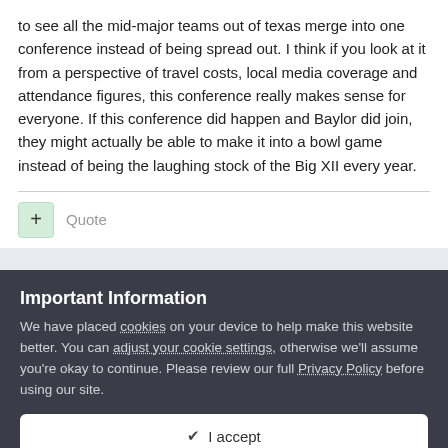to see all the mid-major teams out of texas merge into one conference instead of being spread out. I think if you look at it from a perspective of travel costs, local media coverage and attendance figures, this conference really makes sense for everyone. If this conference did happen and Baylor did join, they might actually be able to make it into a bowl game instead of being the laughing stock of the Big XII every year.
Quote
Important Information
We have placed cookies on your device to help make this website better. You can adjust your cookie settings, otherwise we'll assume you're okay to continue. Please review our full Privacy Policy before using our site.
✔ I accept